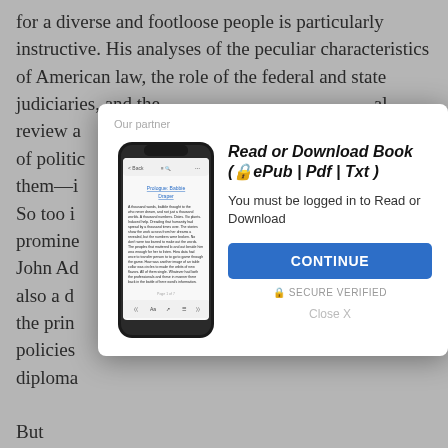for a diverse and footloose people is particularly instructive. His analyses of the peculiar characteristics of American law, the role of the federal and state judiciaries, and the [obscured] al review a[obscured] e role of politic[obscured] called them—i[obscured] destiny. So too i[obscured] res promine[obscured] hilton, John Ad[obscured] on, is also a d[obscured] ral of the prin[obscured] policies [obscured] ican diploma[obscured]
[Figure (screenshot): Modal dialog box with 'Our partner' label, phone image showing an e-book app, title 'Read or Download Book (🔒ePub | Pdf | Txt)', login prompt 'You must be logged in to Read or Download', blue CONTINUE button, SECURE VERIFIED label, and Close X link]
But
Empire of Liberty
's deepest subject is not simply the formal political system that Americans crafted in their first years of nationhood.